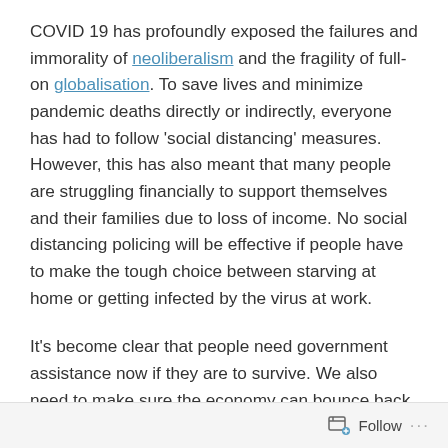COVID 19 has profoundly exposed the failures and immorality of neoliberalism and the fragility of full-on globalisation. To save lives and minimize pandemic deaths directly or indirectly, everyone has had to follow 'social distancing' measures. However, this has also meant that many people are struggling financially to support themselves and their families due to loss of income. No social distancing policing will be effective if people have to make the tough choice between starving at home or getting infected by the virus at work.
It's become clear that people need government assistance now if they are to survive. We also need to make sure the economy can bounce back after the pandemic is over and not enter into a prolonged depression because productivity capability has been decimated facilitated by inadequate government policies. Two keys are essential: 1.
Follow ···